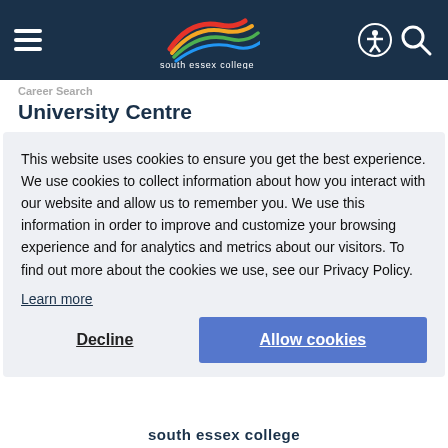South Essex College navigation bar with logo
University Centre
This website uses cookies to ensure you get the best experience. We use cookies to collect information about how you interact with our website and allow us to remember you. We use this information in order to improve and customize your browsing experience and for analytics and metrics about our visitors. To find out more about the cookies we use, see our Privacy Policy.
Learn more
Decline
Allow cookies
south essex college